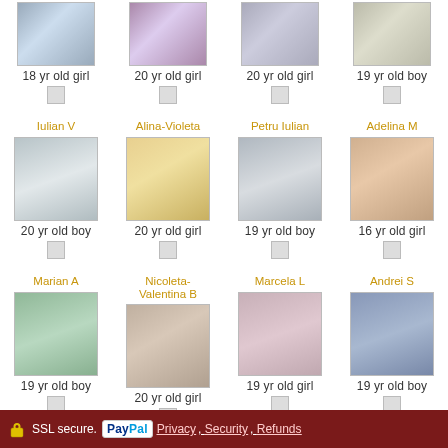[Figure (photo): Grid of child profile photos with names, ages, and gender labels. Row 1 (partial/cut off): 18 yr old girl, 20 yr old girl, 20 yr old girl, 19 yr old boy. Row 2: Iulian V - 20 yr old boy, Alina-Violeta - 20 yr old girl, Petru Iulian - 19 yr old boy, Adelina M - 16 yr old girl. Row 3: Marian A - 19 yr old boy, Nicoleta-Valentina B - 20 yr old girl, Marcela L - 19 yr old girl, Andrei S - 19 yr old boy.]
SSL secure. PayPal Privacy, Security, Refunds